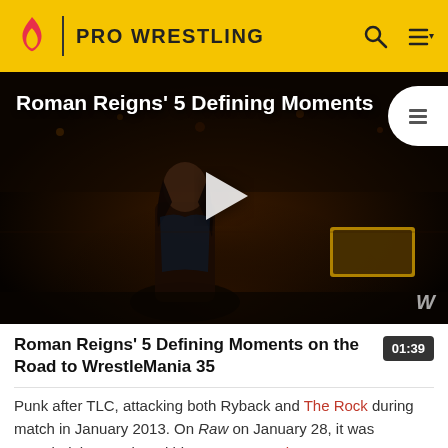PRO WRESTLING
[Figure (screenshot): Video thumbnail of Roman Reigns in a wrestling arena with dark background and crowd, title overlay reads 'Roman Reigns' 5 Defining Moments', play button in center, WWE watermark bottom right]
Roman Reigns' 5 Defining Moments on the Road to WrestleMania 35 01:39
Punk after TLC, attacking both Ryback and The Rock during match in January 2013. On Raw on January 28, it was revealed that Punk and his manager Paul Heyman